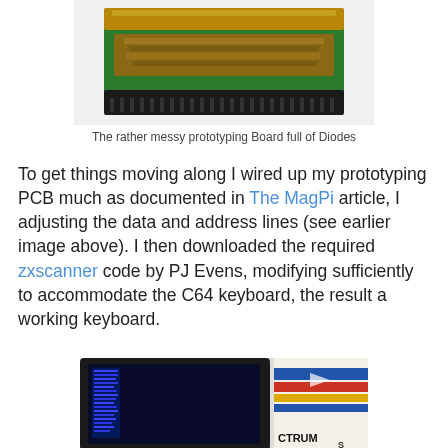[Figure (photo): A green prototyping PCB board full of diodes, with a black connector strip, viewed from the front edge.]
The rather messy prototyping Board full of Diodes
To get things moving along I wired up my prototyping PCB much as documented in The MagPi article, I adjusting the data and address lines (see earlier image above). I then downloaded the required zxscanner code by PJ Evens, modifying sufficiently to accommodate the C64 keyboard, the result a working keyboard.
[Figure (photo): A small screen showing blue pixel text on a dark background, with a ZX Spectrum book/box visible to the right.]